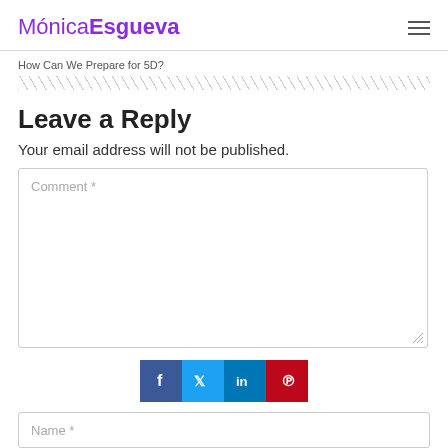MónicaEsgueva
How Can We Prepare for 5D?
Leave a Reply
Your email address will not be published.
Comment *
[Figure (other): Social sharing bar with Facebook, Twitter, LinkedIn, Pinterest buttons]
Name *